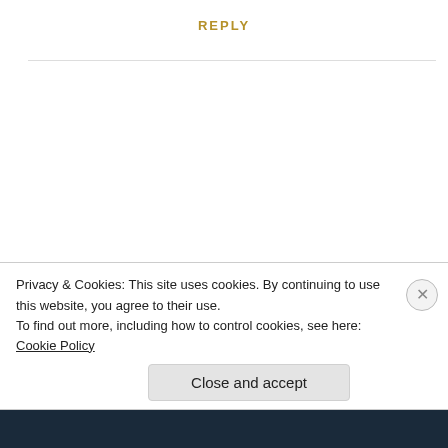REPLY
[Figure (illustration): Purple geometric avatar icon for user Stuart Peossor]
Stuart Peossor
AUGUST 10, 2016 AT 12:22 PM
Loved both books...do very pleased that third is
Privacy & Cookies: This site uses cookies. By continuing to use this website, you agree to their use.
To find out more, including how to control cookies, see here: Cookie Policy
Close and accept